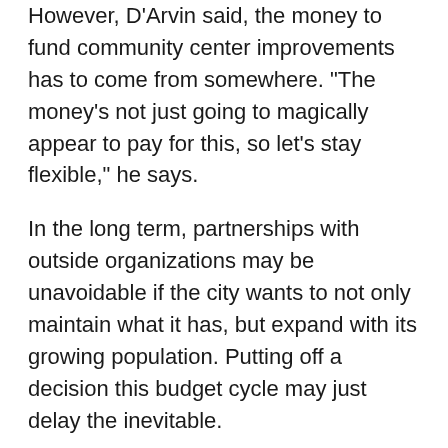However, D'Arvin said, the money to fund community center improvements has to come from somewhere. “The money’s not just going to magically appear to pay for this, so let’s stay flexible,” he says.
In the long term, partnerships with outside organizations may be unavoidable if the city wants to not only maintain what it has, but expand with its growing population. Putting off a decision this budget cycle may just delay the inevitable.
“We’re going to have to ask, for example, what do the community center needs of the future look like?” Aguirre says. “I’m not being stubborn and saying we have to do this, but in my view, we need to take a step back. We have a system that we’re responsible for